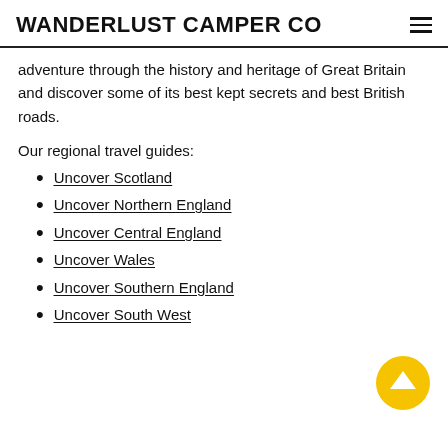WANDERLUST CAMPER CO
adventure through the history and heritage of Great Britain and discover some of its best kept secrets and best British roads.
Our regional travel guides:
Uncover Scotland
Uncover Northern England
Uncover Central England
Uncover Wales
Uncover Southern England
Uncover South West